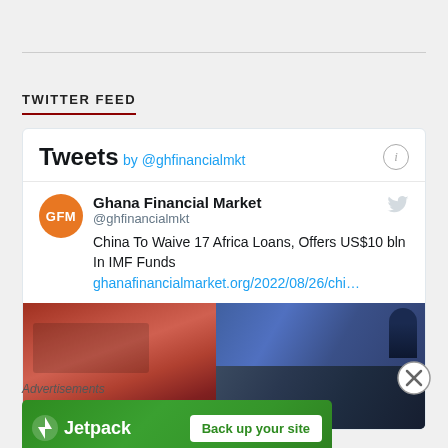TWITTER FEED
[Figure (screenshot): Twitter/X widget embed showing tweets by @ghfinancialamkt. Contains a tweet from Ghana Financial Market (@ghfinancialamkt) reading: 'China To Waive 17 Africa Loans, Offers US$10 bln In IMF Funds ghanafinancialmarket.org/2022/08/26/chi...' with a photo collage of African leaders at what appears to be a summit or conference.]
[Figure (infographic): Jetpack advertisement banner with green background showing Jetpack logo and text 'Back up your site']